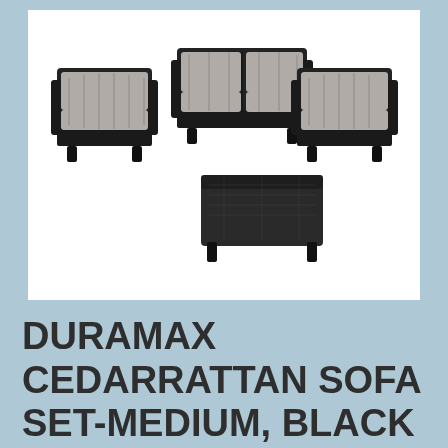[Figure (photo): Product photo of a Duramax Cedarrattan outdoor sofa set in black, consisting of two armchairs, a two-seat loveseat sofa, and a rectangular coffee table, all with grey cushions on the seating pieces, displayed on a white background.]
DURAMAX CEDARRATTAN SOFA SET-MEDIUM, BLACK 86771